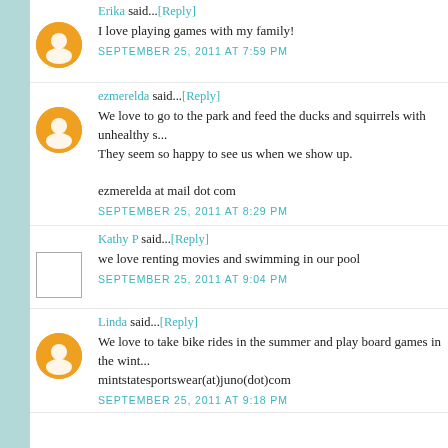Erika said...[Reply]
I love playing games with my family!
SEPTEMBER 25, 2011 AT 7:59 PM
ezmerelda said...[Reply]
We love to go to the park and feed the ducks and squirrels with unhealthy s... They seem so happy to see us when we show up.

ezmerelda at mail dot com
SEPTEMBER 25, 2011 AT 8:29 PM
Kathy P said...[Reply]
we love renting movies and swimming in our pool
SEPTEMBER 25, 2011 AT 9:04 PM
Linda said...[Reply]
We love to take bike rides in the summer and play board games in the wint... mintstatesportswear(at)juno(dot)com
SEPTEMBER 25, 2011 AT 9:18 PM